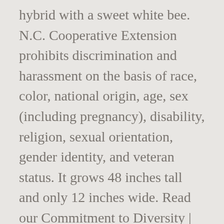hybrid with a sweet white bee. N.C. Cooperative Extension prohibits discrimination and harassment on the basis of race, color, national origin, age, sex (including pregnancy), disability, religion, sexual orientation, gender identity, and veteran status. It grows 48 inches tall and only 12 inches wide. Read our Commitment to Diversity | Read our Privacy Statement. Rating: * Your opinion about this product: * Please note: this review is about the product and not about the garden centre, delivery, etc. Graceful Gardens specializes in Delphiniums and we have all Delphinium varieties for you! Delphinium NEW MILLENNIUM™ 'Green Twist&rs... Delphinium NEW MILLENNIUM™ 'Dwarf Stars&rs